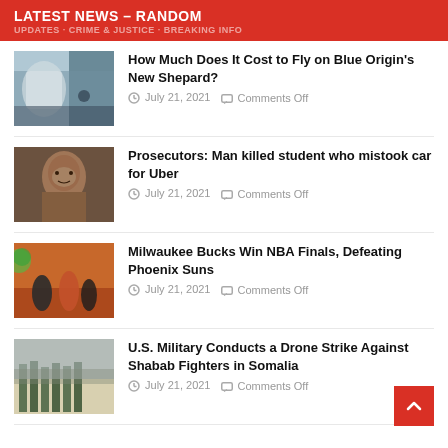LATEST NEWS – RANDOM
How Much Does It Cost to Fly on Blue Origin's New Shepard?
July 21, 2021   Comments Off
Prosecutors: Man killed student who mistook car for Uber
July 21, 2021   Comments Off
Milwaukee Bucks Win NBA Finals, Defeating Phoenix Suns
July 21, 2021   Comments Off
U.S. Military Conducts a Drone Strike Against Shabab Fighters in Somalia
July 21, 2021   Comments Off